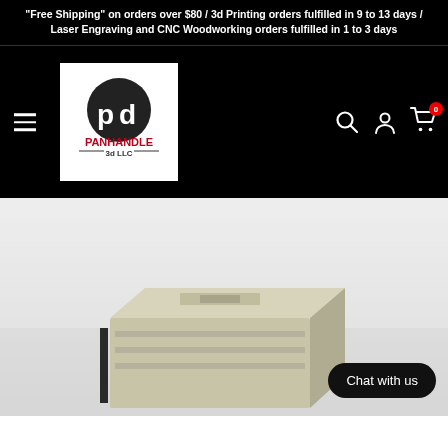"Free Shipping" on orders over $80 / 3d Printing orders fulfilled in 9 to 13 days / Laser Engraving and CNC Woodworking orders fulfilled in 1 to 3 days
[Figure (logo): Panhandle 3d LLC logo — circular black icon with stylized 'pd' letters and red 'PANHANDLE' text with '3d LLC' below on white background, with hamburger menu icon on the left and search, account, cart (0) icons on the right, all on a black navigation bar]
[Figure (photo): Photo of a beige/tan 3D-printed rectangular enclosure or housing component on a light grey background with a black 'Chat with us' button overlay in the lower right corner]